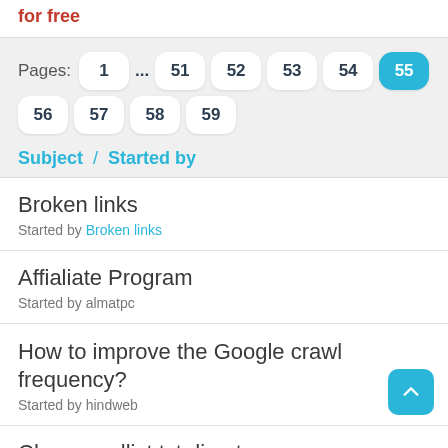for free
Pages: 1 ... 51 52 53 54 55 56 57 58 59
Subject / Started by
Broken links
Started by Broken links
Affialiate Program
Started by almatpc
How to improve the Google crawl frequency?
Started by hindweb
Change urllist txt directory